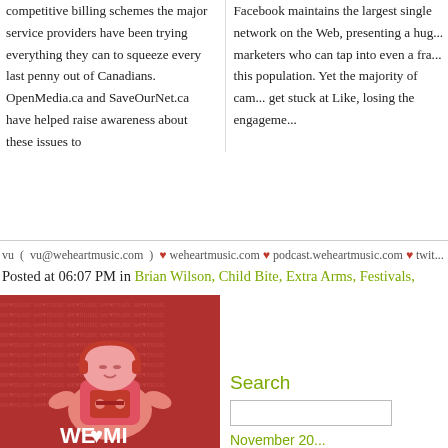competitive billing schemes the major service providers have been trying everything they can to squeeze every last penny out of Canadians. OpenMedia.ca and SaveOurNet.ca have helped raise awareness about these issues to
Facebook maintains the largest single network on the Web, presenting a huge opportunity for marketers who can tap into even a fraction of this population. Yet the majority of campaigns get stuck at Like, losing the engagement
vu ( vu@weheartmusic.com ) ♥ weheartmusic.com ♥ podcast.weheartmusic.com ♥ twit...
Posted at 06:07 PM in Brian Wilson, Child Bite, Extra Arms, Festivals,
Permalink | Comments (0)
Reblog (0)
[Figure (illustration): We Heart Music logo illustration: a cartoon robot character with headphones and a cassette tape heart, red tones, on a background of repeated 'we heart music' text]
Search
November 20...